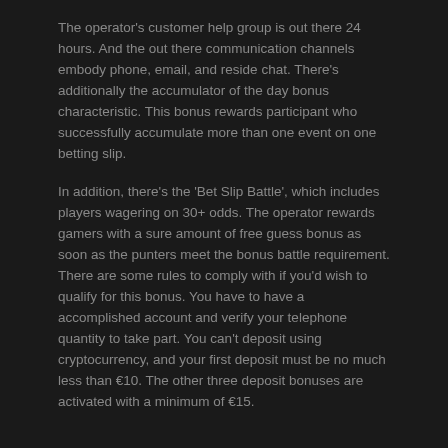The operator's customer help group is out there 24 hours. And the out there communication channels embody phone, email, and reside chat. There's additionally the accumulator of the day bonus characteristic. This bonus rewards participant who successfully accumulate more than one event on one betting slip.
In addition, there's the 'Bet Slip Battle', which includes players wagering on 30+ odds. The operator rewards gamers with a sure amount of free guess bonus as soon as the punters meet the bonus battle requirement. There are some rules to comply with if you'd wish to qualify for this bonus. You have to have a accomplished account and verify your telephone quantity to take part. You can't deposit using cryptocurrency, and your first deposit must be no much less than €10. The other three deposit bonuses are activated with a minimum of €15.